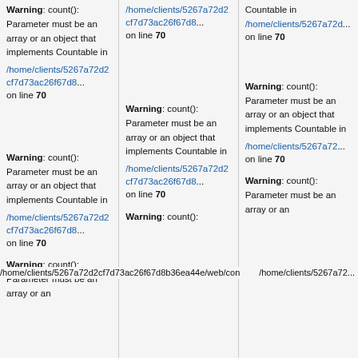Countable in /home/clients/5267a72d2cf7d73ac26f67d8b... on line 70
Warning: count(): Parameter must be an array or an object that implements Countable in /home/clients/5267a72d2cf7d73ac26f67d8b36ea44e/web/con... on line 70
Warning: count(): Parameter must be an array or an object that implements Countable in /home/clients/5267a72d... on line 70
Warning: count(): Parameter must be an array or an object that implements Countable in /home/clients/5267a72d2cf7d73ac26f67d8b... on line 70
Warning: count(): Parameter must be an array or an object that implements Countable in /home/clients/5267a72d2cf7d73ac26f67d... on line 70
Warning: count(): Parameter must be an array or an
Warning: count(): Parameter must be an array or an
Warning: count(): Parameter must be an array or an